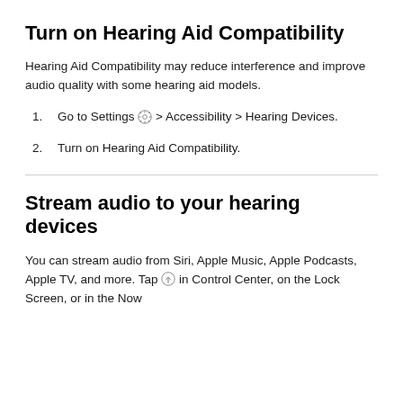Turn on Hearing Aid Compatibility
Hearing Aid Compatibility may reduce interference and improve audio quality with some hearing aid models.
Go to Settings [icon] > Accessibility > Hearing Devices.
Turn on Hearing Aid Compatibility.
Stream audio to your hearing devices
You can stream audio from Siri, Apple Music, Apple Podcasts, Apple TV, and more. Tap [icon] in Control Center, on the Lock Screen, or in the Now